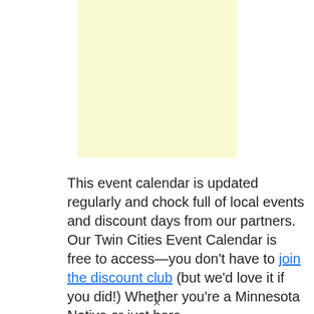[Figure (other): Light yellow advertisement placeholder box]
This event calendar is updated regularly and chock full of local events and discount days from our partners. Our Twin Cities Event Calendar is free to access—you don't have to join the discount club (but we'd love it if you did!) Whether you're a Minnesota Native or just here